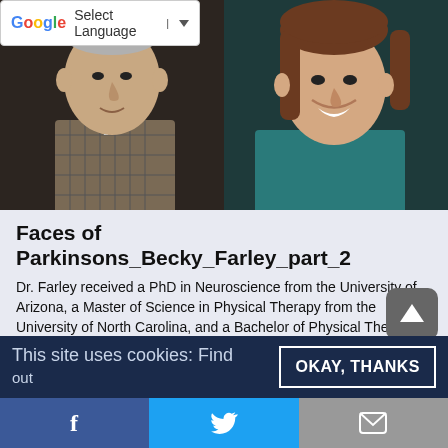[Figure (photo): Two people: a man in a plaid jacket (left) and a woman in a teal top (right), cropped headshots side by side]
Faces of Parkinsons_Becky_Farley_part_2
Dr. Farley received a PhD in Neuroscience from the University of Arizona, a Master of Science in Physical Therapy from the University of North Carolina, and a Bachelor of Physical Therapy from the University of Oklahoma. She has over 30 years of experience in neurorehabilitation, and is currently the CEO/Founder of the nonprofit Parkinson Wellness Recovery | PWR!. and a Physiology Associate at the University of Arizona. Robert Cochrane is the host and creator of Faces
This site uses cookies: Find out
OKAY, THANKS